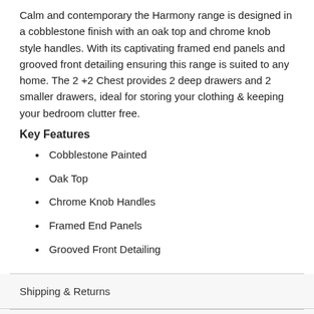Calm and contemporary the Harmony range is designed in a cobblestone finish with an oak top and chrome knob style handles. With its captivating framed end panels and grooved front detailing ensuring this range is suited to any home. The 2 +2 Chest provides 2 deep drawers and 2 smaller drawers, ideal for storing your clothing & keeping your bedroom clutter free.
Key Features
Cobblestone Painted
Oak Top
Chrome Knob Handles
Framed End Panels
Grooved Front Detailing
Shipping & Returns
Reviews